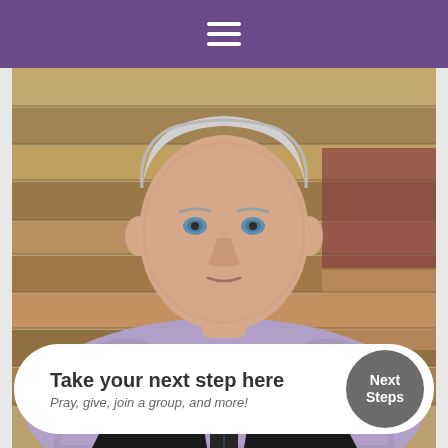☰
[Figure (photo): Older man with white hair, wearing a black vest over a purple/lavender checked shirt, arms crossed, standing in front of a rustic wooden plank wall]
Take your next step here
Pray, give, join a group, and more!
Next Steps